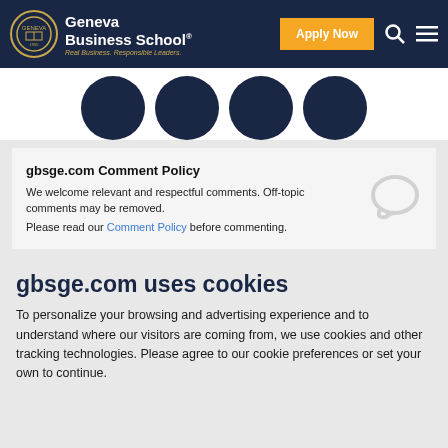[Figure (screenshot): Geneva Business School navigation bar with logo, Apply Now button, search and menu icons]
[Figure (illustration): Four dark navy circular profile photo placeholders in a row, partially cropped at top]
gbsge.com Comment Policy
We welcome relevant and respectful comments. Off-topic comments may be removed.
Please read our Comment Policy before commenting.
gbsge.com uses cookies
To personalize your browsing and advertising experience and to understand where our visitors are coming from, we use cookies and other tracking technologies. Please agree to our cookie preferences or set your own to continue.